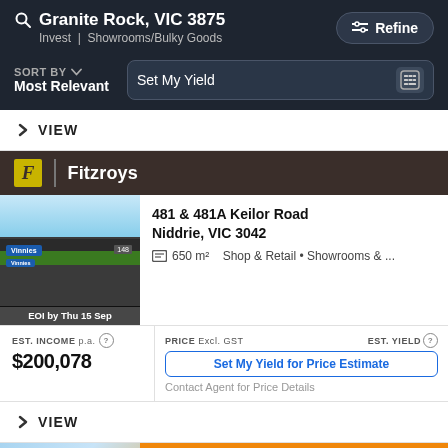Granite Rock, VIC 3875 | Invest | Showrooms/Bulky Goods | Refine
SORT BY Most Relevant | Set My Yield
> VIEW
[Figure (screenshot): Fitzroys real estate listing for 481 & 481A Keilor Road, Niddrie VIC 3042. Shows a commercial property with Vinnies store. EOI by Thu 15 Sep.]
481 & 481A Keilor Road
Niddrie, VIC 3042
650 m² Shop & Retail • Showrooms & ...
EST. INCOME p.a. $200,078 | PRICE Excl. GST | EST. YIELD | Set My Yield for Price Estimate | Contact Agent for Price Details
> VIEW
Burgess Rawson